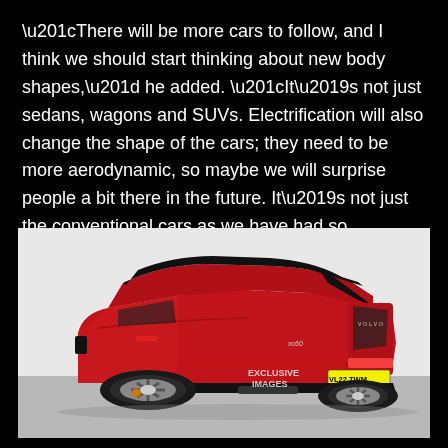“There will be more cars to follow, and I think we should start thinking about new body shapes,” he added. “It’s not just sedans, wagons and SUVs. Electrification will also change the shape of the cars; they need to be more aerodynamic, so maybe we will surprise people a bit there in the future. It’s not just the conventional cars as we have had so far.”
[Figure (photo): Rear three-quarter view of a red Volvo XC60 SUV with black roof and alloy wheels, license plate VL22 TWM, with EXCLUSIVE IMAGES watermark]